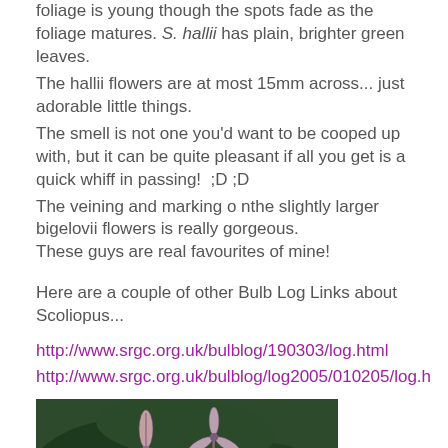foliage is young though the spots fade as the foliage matures. S. hallii has plain, brighter green leaves.
The hallii flowers are at most 15mm across... just adorable little things.
The smell is not one you'd want to be cooped up with, but it can be quite pleasant if all you get is a quick whiff in passing!  ;D ;D
The veining and marking o nthe slightly larger bigelovii flowers is really gorgeous.
These guys are real favourites of mine!
Here are a couple of other Bulb Log Links about Scoliopus...
http://www.srgc.org.uk/bulblog/190303/log.html
http://www.srgc.org.uk/bulblog/log2005/010205/log.h
[Figure (photo): Close-up photograph of Scoliopus flowers with distinctive veined petals among green foliage]